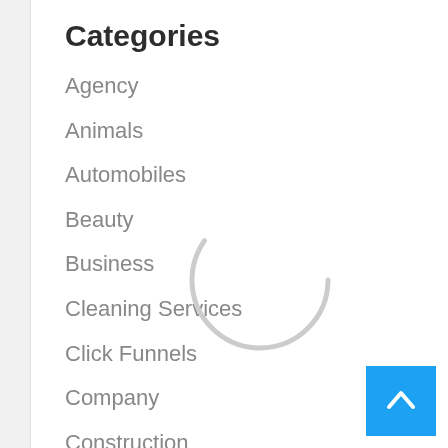Categories
Agency
Animals
Automobiles
Beauty
Business
Cleaning Services
Click Funnels
Company
Construction
Education
Events
Finance
[Figure (other): Loading spinner - partial circle arc in light gray]